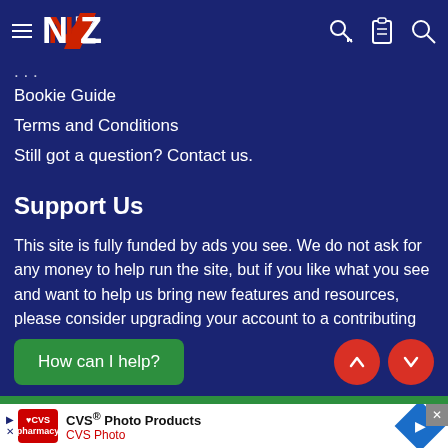NZ site navigation header with hamburger menu, logo, key icon, clipboard icon, search icon
Bookie Guide
Terms and Conditions
Still got a question? Contact us.
Support Us
This site is fully funded by ads you see. We do not ask for any money to help run the site, but if you like what you see and want to help us bring new features and resources, please consider upgrading your account to a contributing member.
[Figure (screenshot): Green button labeled 'How can I help?' and two red circular arrow buttons (up and down)]
[Figure (screenshot): CVS Photo Products advertisement banner with CVS pharmacy logo, arrow navigation, close button, and blue diamond navigation icon]